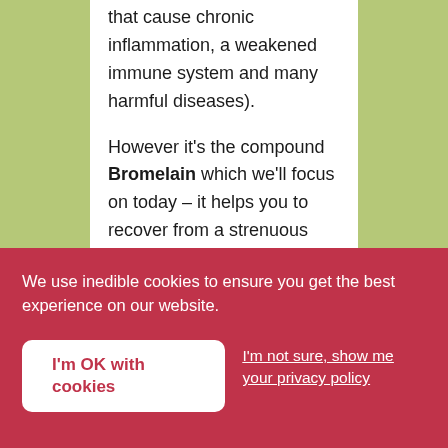that cause chronic inflammation, a weakened immune system and many harmful diseases). However it's the compound Bromelain which we'll focus on today – it helps you to recover from a strenuous workout, deals with a dodgy tummy after a meat feast, fights cancer and it also helps...
We use inedible cookies to ensure you get the best experience on our website.
I'm OK with cookies
I'm not sure, show me your privacy policy